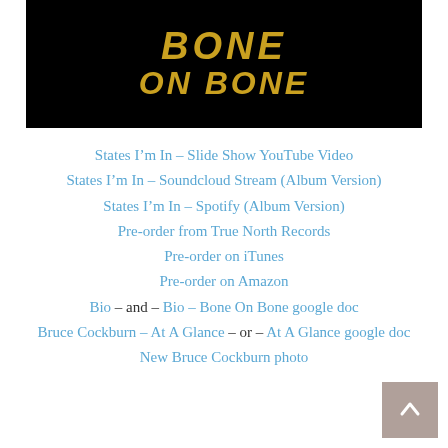[Figure (photo): Album cover image showing 'BONE ON BONE' text in gold/yellow distressed font on black background]
States I'm In – Slide Show YouTube Video
States I'm In – Soundcloud Stream (Album Version)
States I'm In – Spotify (Album Version)
Pre-order from True North Records
Pre-order on iTunes
Pre-order on Amazon
Bio – and – Bio – Bone On Bone google doc
Bruce Cockburn – At A Glance – or – At A Glance google doc
New Bruce Cockburn photo